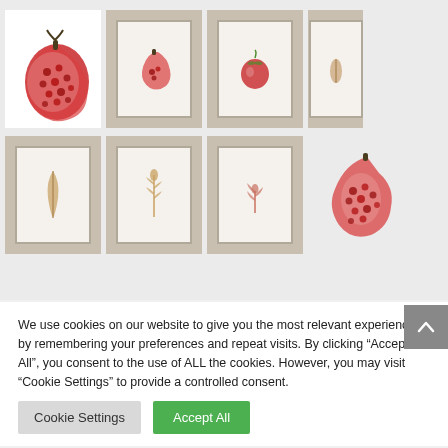[Figure (photo): Gallery of botanical/fruit artwork thumbnails in two rows. Row 1: pomegranate half on white background, then three framed prints showing pomegranate, apple, and seed. Row 2: four framed prints showing leaves/plant elements, and a pomegranate half on transparent background.]
We use cookies on our website to give you the most relevant experience by remembering your preferences and repeat visits. By clicking “Accept All”, you consent to the use of ALL the cookies. However, you may visit “Cookie Settings” to provide a controlled consent.
Cookie Settings
Accept All